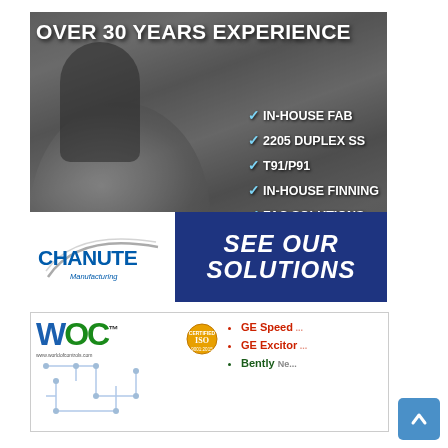[Figure (illustration): Chanute Manufacturing advertisement showing industrial pipe/tube welding background image with white bold headline 'OVER 30 YEARS EXPERIENCE' and checklist items: IN-HOUSE FAB, 2205 DUPLEX SS, T91/P91, IN-HOUSE FINNING, FAC SOLUTIONS. Bottom strip shows Chanute Manufacturing logo on left and dark blue 'SEE OUR SOLUTIONS' call-to-action on right.]
[Figure (illustration): World of Controls (WIC) advertisement with colorful WIC logo, ISO certification badge, www.worldofcontrols.com URL, and product bullet list: GE Speed [partially obscured], GE Excitor [partially obscured], Bently [Nevada - partially obscured].]